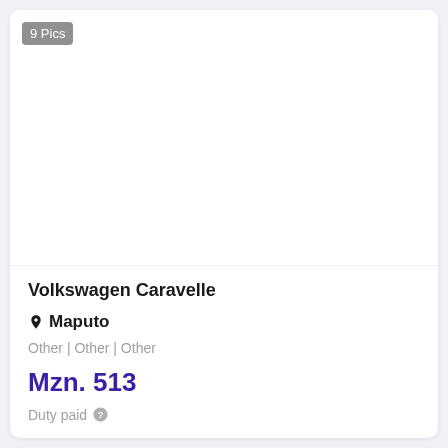[Figure (photo): Car listing image area showing white background with 9 Pics badge]
Volkswagen Caravelle
📍 Maputo
Other | Other | Other
Mzn. 513
Duty paid